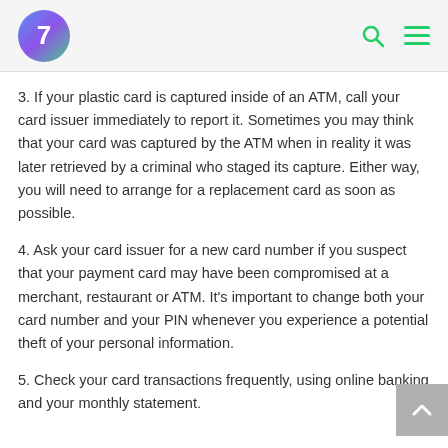7
3. If your plastic card is captured inside of an ATM, call your card issuer immediately to report it. Sometimes you may think that your card was captured by the ATM when in reality it was later retrieved by a criminal who staged its capture. Either way, you will need to arrange for a replacement card as soon as possible.
4. Ask your card issuer for a new card number if you suspect that your payment card may have been compromised at a merchant, restaurant or ATM. It's important to change both your card number and your PIN whenever you experience a potential theft of your personal information.
5. Check your card transactions frequently, using online banking and your monthly statement.